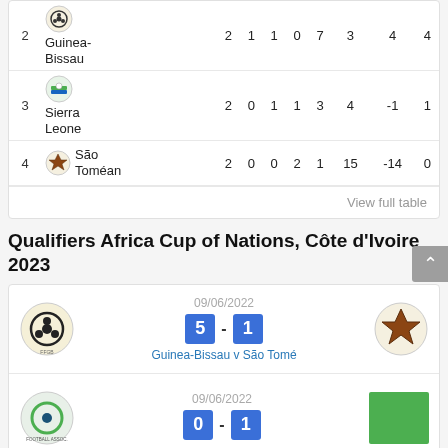| # | Team | P | W | D | L | GF | GA | GD | Pts |
| --- | --- | --- | --- | --- | --- | --- | --- | --- | --- |
| 2 | Guinea-Bissau | 2 | 1 | 1 | 0 | 7 | 3 | 4 | 4 |
| 3 | Sierra Leone | 2 | 0 | 1 | 1 | 3 | 4 | -1 | 1 |
| 4 | São Toméan | 2 | 0 | 0 | 2 | 1 | 15 | -14 | 0 |
View full table
Qualifiers Africa Cup of Nations, Côte d'Ivoire 2023
[Figure (other): Match result card: Guinea-Bissau vs São Tomé, 09/06/2022, score 5-1]
[Figure (other): Match result card: second match, 09/06/2022, score 0-1, partially visible]